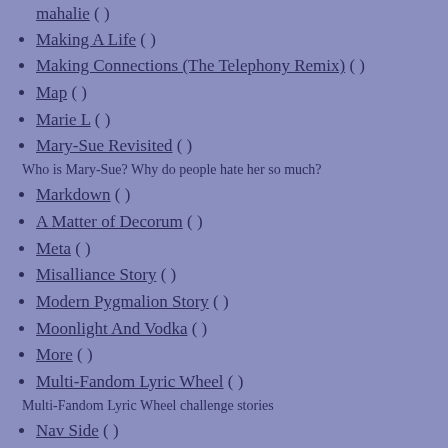mahalie ( )
Making A Life ( )
Making Connections (The Telephony Remix) ( )
Map ( )
Marie L ( )
Mary-Sue Revisited ( )
Who is Mary-Sue? Why do people hate her so much?
Markdown ( )
A Matter of Decorum ( )
Meta ( )
Misalliance Story ( )
Modern Pygmalion Story ( )
Moonlight And Vodka ( )
More ( )
Multi-Fandom Lyric Wheel ( )
Multi-Fandom Lyric Wheel challenge stories
Nav Side ( )
Necessity: The DVD Commentary ( )
Necessity ( )
Note ( )
On The Bus ( )
Once You Had Gold Story ( )
One Big Happy Family Story ( )
One Moment ( )
OpenID ( )